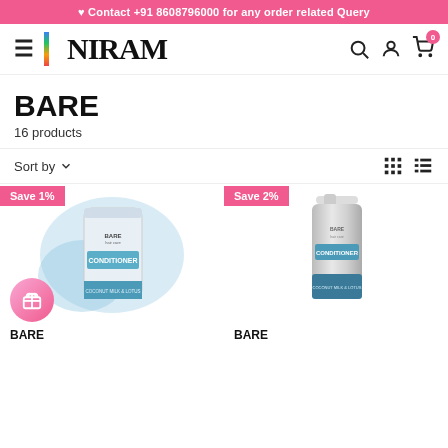♥ Contact +91 8608796000 for any order related Query
[Figure (logo): NIRAM brand logo with colorful N stripe]
BARE
16 products
Sort by
[Figure (photo): BARE Conditioner product in refill pouch bag with blue watercolor splash background, Save 1% badge, gift icon button]
[Figure (photo): BARE Conditioner product in silver pump bottle, Save 2% badge]
BARE
BARE